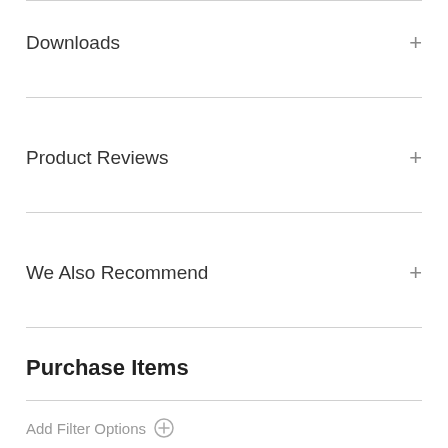Downloads
Product Reviews
We Also Recommend
Purchase Items
Add Filter Options